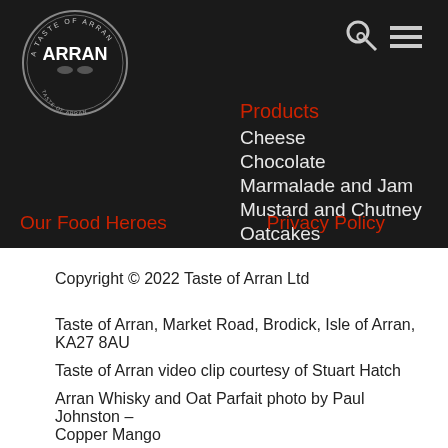[Figure (logo): A Taste of Arran circular logo with illustration]
Products
Cheese
Chocolate
Marmalade and Jam
Mustard and Chutney
Oatcakes
Our Food Heroes
Privacy Policy
Copyright © 2022 Taste of Arran Ltd
Taste of Arran, Market Road, Brodick, Isle of Arran, KA27 8AU
Taste of Arran video clip courtesy of Stuart Hatch
Arran Whisky and Oat Parfait photo by Paul Johnston – Copper Mango
Web design in Ayrshire by atom.